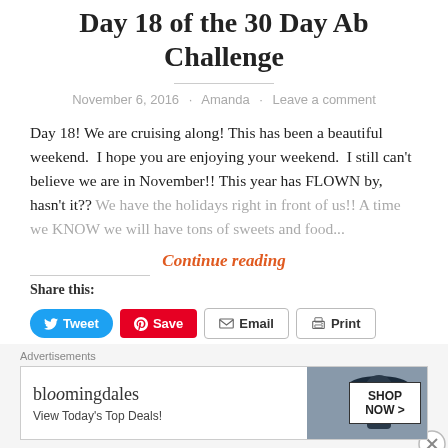Day 18 of the 30 Day Ab Challenge
November 6, 2016 · Amanda · Leave a comment
Day 18! We are cruising along! This has been a beautiful weekend.  I hope you are enjoying your weekend.  I still can't believe we are in November!! This year has FLOWN by, hasn't it?? We have the holidays right in front of us!! A time we KNOW we will have tons of sweets and food...
Continue reading
Share this:
Tweet Save Email Print
[Figure (other): Bloomingdale's advertisement banner with logo, tagline 'View Today's Top Deals!' and 'SHOP NOW >' button]